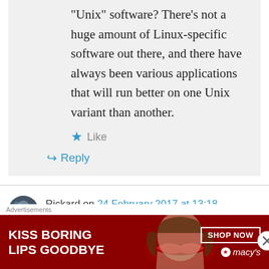Unix software? There's not a huge amount of Linux-specific software out there, and there have always been various applications that will run better on one Unix variant than another.
Like
Reply
Rickard on 24 February 2017 at 13:18
"NWS home of Michelinda bro wine Back...
[Figure (infographic): Macy's advertisement banner with red background, woman with red lips, text 'KISS BORING LIPS GOODBYE', 'SHOP NOW' button, and Macy's logo with star]
Advertisements